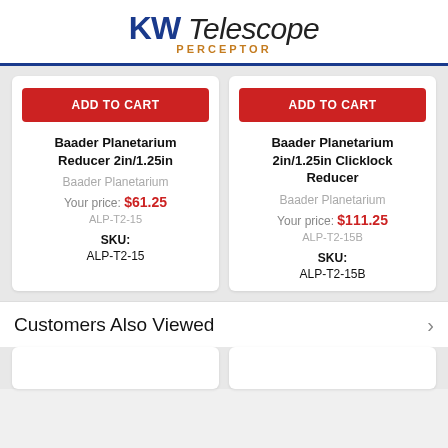[Figure (logo): KW Telescope Perceptor logo with blue KW text and italic Telescope, orange Perceptor subtitle]
ADD TO CART
Baader Planetarium Reducer 2in/1.25in
Baader Planetarium
Your price: $61.25
ALP-T2-15
SKU: ALP-T2-15
ADD TO CART
Baader Planetarium 2in/1.25in Clicklock Reducer
Baader Planetarium
Your price: $111.25
ALP-T2-15B
SKU: ALP-T2-15B
Customers Also Viewed